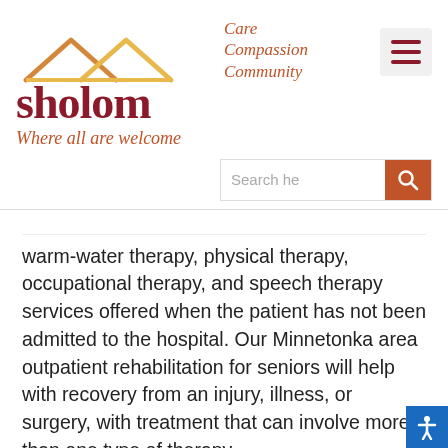[Figure (logo): Sholom logo with roofline icon, text 'sholom', tagline 'Care Compassion Community', and 'Where all are welcome']
[Figure (screenshot): Search bar with placeholder 'Search he' and magnifying glass button on red background]
warm-water therapy, physical therapy, occupational therapy, and speech therapy services offered when the patient has not been admitted to the hospital. Our Minnetonka area outpatient rehabilitation for seniors will help with recovery from an injury, illness, or surgery, with treatment that can involve more than one type of therapy.
Our goal is to help you back to your daily life. We will discuss and develop the best therapy or a combination of treatments to help you heal. Here is some more informatio